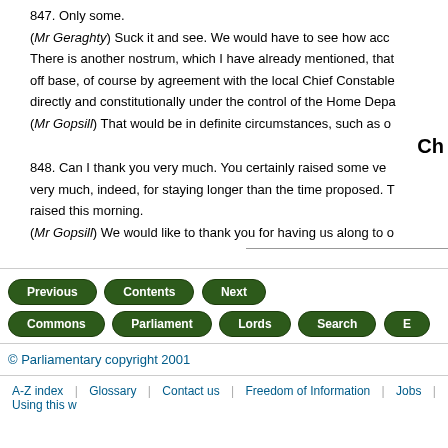847. Only some.
(Mr Geraghty) Suck it and see. We would have to see how acc... There is another nostrum, which I have already mentioned, that... off base, of course by agreement with the local Chief Constable... directly and constitutionally under the control of the Home Depa...
(Mr Gopsill) That would be in definite circumstances, such as o...
Ch...
848. Can I thank you very much. You certainly raised some ve... very much, indeed, for staying longer than the time proposed. T... raised this morning.
(Mr Gopsill) We would like to thank you for having us along to o...
© Parliamentary copyright 2001
A-Z index | Glossary | Contact us | Freedom of Information | Jobs | Using this w...